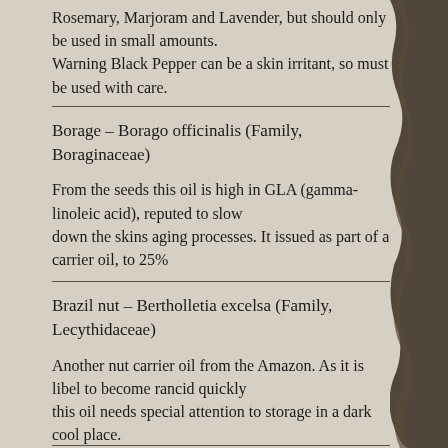Rosemary, Marjoram and Lavender, but should only be used in small amounts.
Warning Black Pepper can be a skin irritant, so must be used with care.
Borage – Borago officinalis (Family, Boraginaceae)
From the seeds this oil is high in GLA (gamma-linoleic acid), reputed to slow down the skins aging processes. It issued as part of a carrier oil, to 25%
Brazil nut – Bertholletia excelsa (Family, Lecythidaceae)
Another nut carrier oil from the Amazon. As it is libel to become rancid quickly this oil needs special attention to storage in a dark cool place.